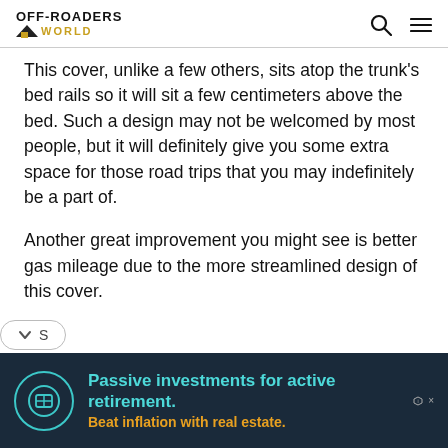OFF-ROADERS WORLD
This cover, unlike a few others, sits atop the trunk's bed rails so it will sit a few centimeters above the bed. Such a design may not be welcomed by most people, but it will definitely give you some extra space for those road trips that you may indefinitely be a part of.
Another great improvement you might see is better gas mileage due to the more streamlined design of this cover.
[Figure (other): Advertisement banner: Passive investments for active retirement. Beat inflation with real estate.]